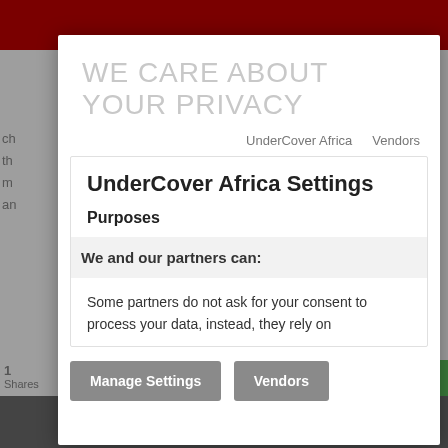WE CARE ABOUT YOUR PRIVACY
UnderCover Africa   Vendors
UnderCover Africa Settings
Purposes
We and our partners can:
Some partners do not ask for your consent to process your data, instead, they rely on
Manage Settings   Vendors
Accept All   Reject All   Save & Exit